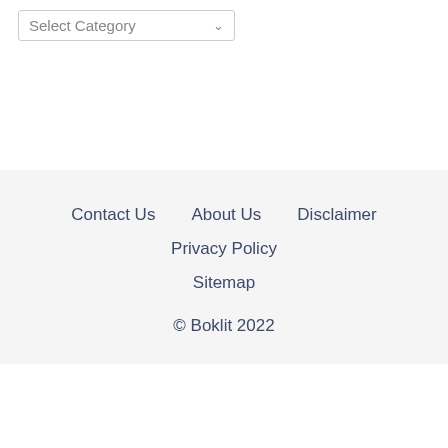[Figure (screenshot): A dropdown/select UI element labeled 'Select Category' with a dropdown arrow, styled with a border]
Contact Us   About Us   Disclaimer   Privacy Policy   Sitemap
© Boklit 2022